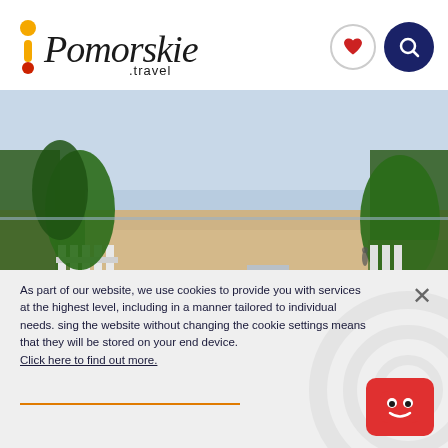[Figure (logo): Pomorskie.travel logo with exclamation mark in orange/yellow/red and stylized cursive text]
[Figure (photo): Beach scene viewed through a garden entrance with green plants, white picket fence, flower planters, two metal chairs and a small table on sandy beach, overcast sky, single person walking on beach in distance]
As part of our website, we use cookies to provide you with services at the highest level, including in a manner tailored to individual needs. sing the website without changing the cookie settings means that they will be stored on your end device. Click here to find out more.